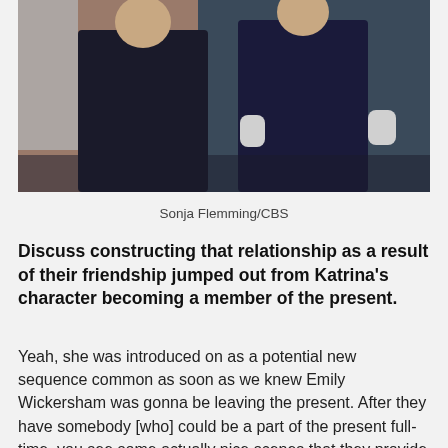[Figure (photo): Two people standing outdoors, one wearing a dark jacket and the other in dark clothing with gloves, in front of a brick wall and teal-colored background]
Sonja Flemming/CBS
Discuss constructing that relationship as a result of their friendship jumped out from Katrina's character becoming a member of the present.
Yeah, she was introduced on as a potential new sequence common as soon as we knew Emily Wickersham was gonna be leaving the present. After they have somebody [who] could be a part of the present full-time, you see some actually nice scenes that they provide them, as a method of our producers, the community, you identify it, saving, does this character and this actor gel with